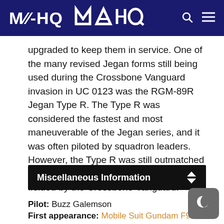MAHQ
upgraded to keep them in service. One of the many revised Jegan forms still being used during the Crossbone Vanguard invasion in UC 0123 was the RGM-89R Jegan Type R. The Type R was considered the fastest and most maneuverable of the Jegan series, and it was often piloted by squadron leaders. However, the Type R was still outmatched by the smaller and faster new mobile suits fielded by the Crossbone Vanguard.
Miscellaneous Information
Pilot: Buzz Galemson
First appearance: Mobile Suit Gundam F91
Original mechanical designer: Junya Ishigaki